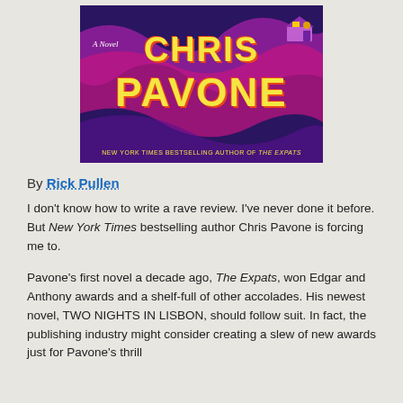[Figure (illustration): Book cover for a novel by Chris Pavone. Purple and magenta wavy background. Large yellow text reads 'CHRIS PAVONE' with orange shadow. Smaller text 'A Novel' in white italic. Bottom banner reads 'NEW YORK TIMES BESTSELLING AUTHOR OF THE EXPATS'. Small illustration of a tram/streetcar in upper right.]
By Rick Pullen
I don't know how to write a rave review. I've never done it before. But New York Times bestselling author Chris Pavone is forcing me to.
Pavone's first novel a decade ago, The Expats, won Edgar and Anthony awards and a shelf-full of other accolades. His newest novel, TWO NIGHTS IN LISBON, should follow suit. In fact, the publishing industry might consider creating a slew of new awards just for Pavone's thrill...